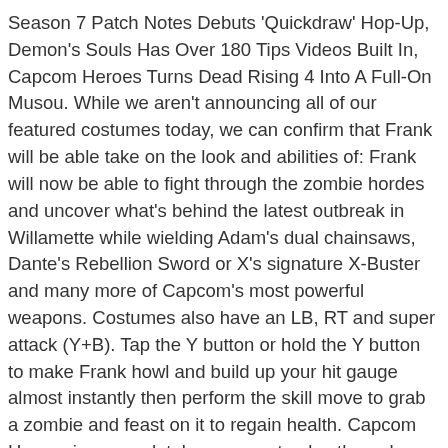Season 7 Patch Notes Debuts 'Quickdraw' Hop-Up, Demon's Souls Has Over 180 Tips Videos Built In, Capcom Heroes Turns Dead Rising 4 Into A Full-On Musou. While we aren't announcing all of our featured costumes today, we can confirm that Frank will be able take on the look and abilities of: Frank will now be able to fight through the zombie hordes and uncover what's behind the latest outbreak in Willamette while wielding Adam's dual chainsaws, Dante's Rebellion Sword or X's signature X-Buster and many more of Capcom's most powerful weapons. Costumes also have an LB, RT and super attack (Y+B). Tap the Y button or hold the Y button to make Frank howl and build up your hit gauge almost instantly then perform the skill move to grab a zombie and feast on it to regain health. Capcom Heroes is a completely new way to play through Dead Rising 4, coming to the other versions of the game alongside the release of Frank's Big Package via a free update. Run down to the wine cellar then find the sword collectible in the second room to the left.
Wait for the flowers to have an orange highlight before snapping